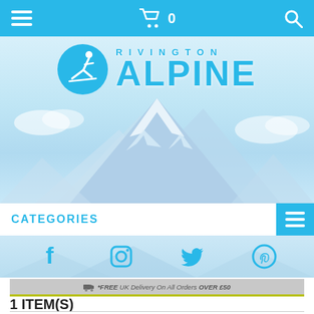Navigation bar with hamburger menu, cart (0), and search icons
[Figure (logo): Rivington Alpine logo with skier icon circle and mountain-style text on snowy mountain background]
CATEGORIES
[Figure (infographic): Social media icons: Facebook, Instagram, Twitter, Pinterest in blue on mountain background]
*FREE UK Delivery On All Orders OVER £50
1 ITEM(S)
RIVINGTON ALPINE